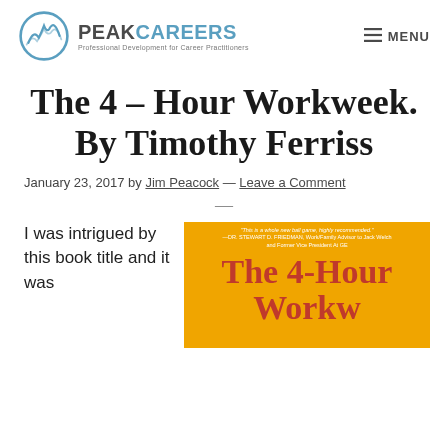PEAK CAREERS — Professional Development for Career Practitioners | MENU
The 4 – Hour Workweek. By Timothy Ferriss
January 23, 2017 by Jim Peacock — Leave a Comment
—
I was intrigued by this book title and it was
[Figure (photo): Book cover of The 4-Hour Workweek with orange background and red title text, with a quote at the top]